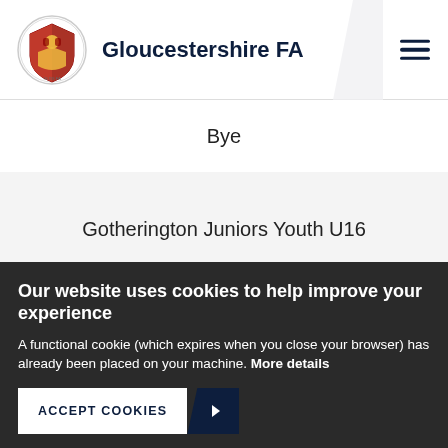Gloucestershire FA
Bye
Gotherington Juniors Youth U16
Bye
Hallen Youth U18
Our website uses cookies to help improve your experience
A functional cookie (which expires when you close your browser) has already been placed on your machine. More details
ACCEPT COOKIES